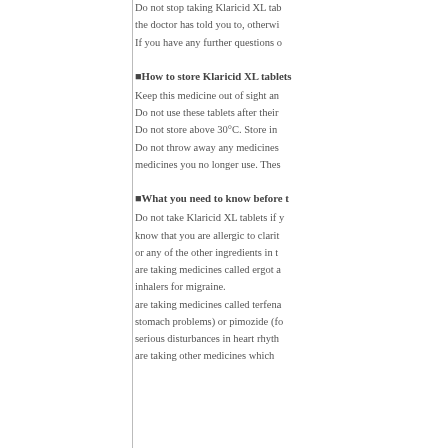Do not stop taking Klaricid XL tab the doctor has told you to, otherwi If you have any further questions o
How to store Klaricid XL tablets
Keep this medicine out of sight an Do not use these tablets after their Do not store above 30°C. Store in Do not throw away any medicines medicines you no longer use. Thes
What you need to know before t
Do not take Klaricid XL tablets if y know that you are allergic to clarit or any of the other ingredients in t are taking medicines called ergot a inhalers for migraine. are taking medicines called terfena stomach problems) or pimozide (fo serious disturbances in heart rhyth are taking other medicines which